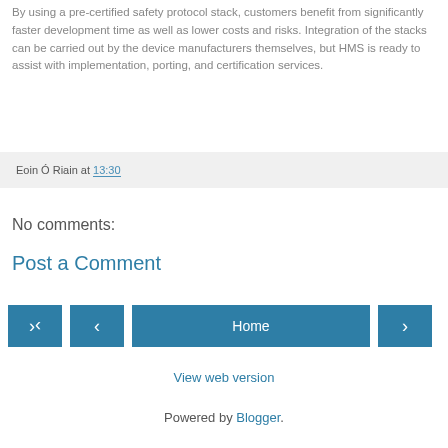By using a pre-certified safety protocol stack, customers benefit from significantly faster development time as well as lower costs and risks. Integration of the stacks can be carried out by the device manufacturers themselves, but HMS is ready to assist with implementation, porting, and certification services.
Eoin Ó Riain at 13:30
No comments:
Post a Comment
Home
View web version
Powered by Blogger.